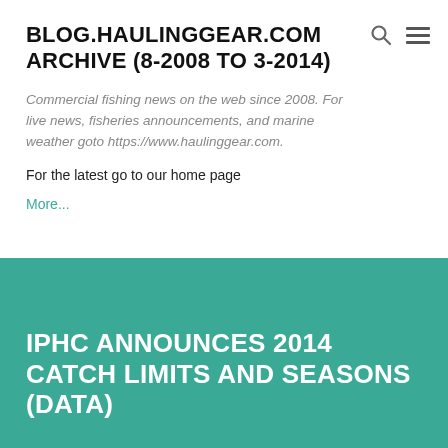BLOG.HAULINGGEAR.COM ARCHIVE (8-2008 TO 3-2014)
Commercial fishing news on the web since 2008. For live news, fisheries announcements, and marine weather goto https://www.haulinggear.com.
For the latest go to our home page
More...
IPHC ANNOUNCES 2014 CATCH LIMITS AND SEASONS (data)